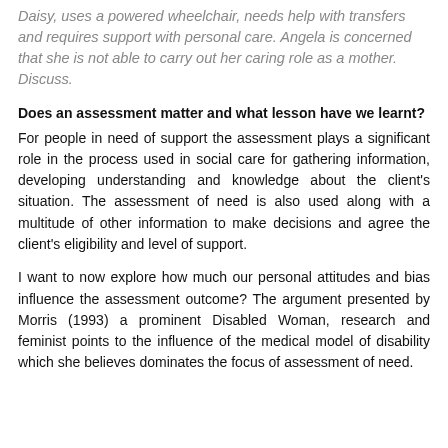Daisy, uses a powered wheelchair, needs help with transfers and requires support with personal care. Angela is concerned that she is not able to carry out her caring role as a mother. Discuss.
Does an assessment matter and what lesson have we learnt?
For people in need of support the assessment plays a significant role in the process used in social care for gathering information, developing understanding and knowledge about the client's situation. The assessment of need is also used along with a multitude of other information to make decisions and agree the client's eligibility and level of support.
I want to now explore how much our personal attitudes and bias influence the assessment outcome? The argument presented by Morris (1993) a prominent Disabled Woman, research and feminist points to the influence of the medical model of disability which she believes dominates the focus of assessment of need.